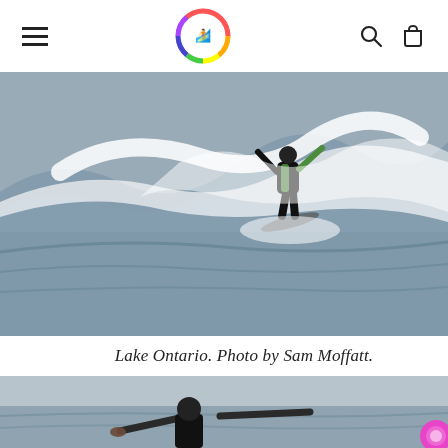Navigation bar with hamburger menu, circular rainbow logo, search and cart icons
[Figure (photo): Surfer riding a large wave on Lake Ontario, wearing a black wetsuit with green accents, arms raised, with crashing white water behind]
Lake Ontario. Photo by Sam Moffatt.
[Figure (photo): Partially visible figure in wetsuit standing in gray choppy water with overcast sky, arms outstretched]